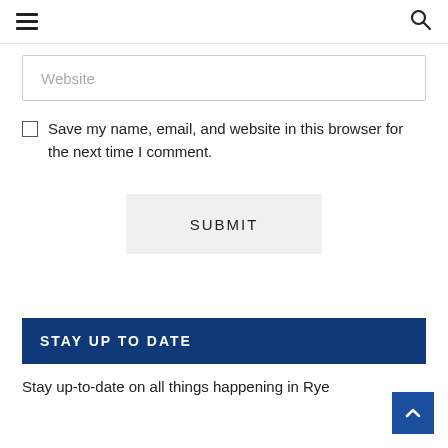Menu / Search
Website
Save my name, email, and website in this browser for the next time I comment.
SUBMIT
STAY UP TO DATE
Stay up-to-date on all things happening in Rye